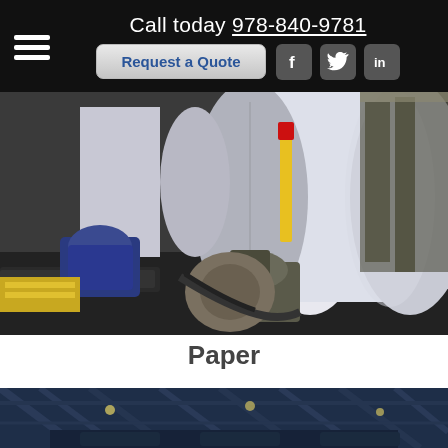Call today 978-840-9781 | Request a Quote | Facebook | Twitter | LinkedIn
[Figure (photo): Large white paper roll on industrial machinery in a paper manufacturing facility, viewed from a low angle showing the roll and drive mechanism.]
Paper
[Figure (photo): Industrial facility interior with steel structure, overhead cranes and blue-tinted lighting visible at the bottom of the page.]